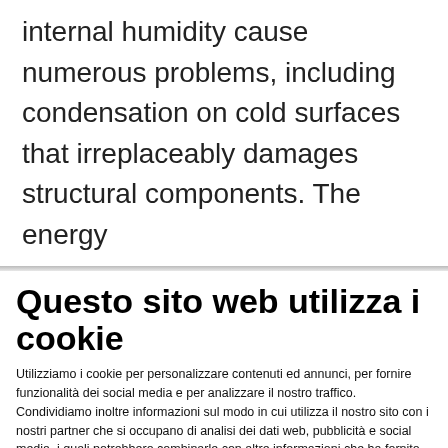internal humidity cause numerous problems, including condensation on cold surfaces that irreplaceably damages structural components. The energy
Questo sito web utilizza i cookie
Utilizziamo i cookie per personalizzare contenuti ed annunci, per fornire funzionalità dei social media e per analizzare il nostro traffico. Condividiamo inoltre informazioni sul modo in cui utilizza il nostro sito con i nostri partner che si occupano di analisi dei dati web, pubblicità e social media, i quali potrebbero combinarle con altre informazioni che ha fornito loro o che hanno raccolto dal suo utilizzo dei loro servizi.
Rifiuta | Accetta selezionati | Accetta tutti
Necessari  Preferenze  Statistiche  Marketing  Mostra dettagli